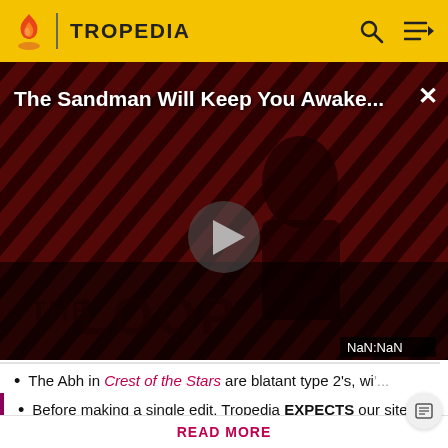TROPEDIA
[Figure (screenshot): Video player showing 'The Sandman Will Keep You Awake...' with a dark figure against diagonal red and black stripes background, play button in center, 'THE LOOP' text at bottom, NaN:NaN timestamp, and X close button.]
The Abh in Crest of the Stars are blatant type 2's, wi...
Before making a single edit, Tropedia EXPECTS our site policy and manual of style to be followed. Failure to do so may...
READ MORE